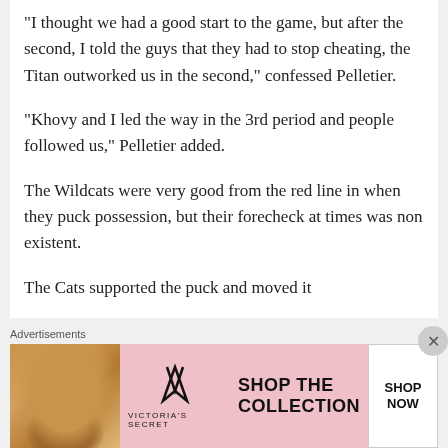“I thought we had a good start to the game, but after the second, I told the guys that they had to stop cheating, the Titan outworked us in the second,” confessed Pelletier.
“Khovy and I led the way in the 3rd period and people followed us,” Pelletier added.
The Wildcats were very good from the red line in when they puck possession, but their forecheck at times was non existent.
The Cats supported the puck and moved it
Advertisements
[Figure (photo): Victoria's Secret advertisement banner with a woman's photo, VS logo, text 'SHOP THE COLLECTION', and a 'SHOP NOW' button]